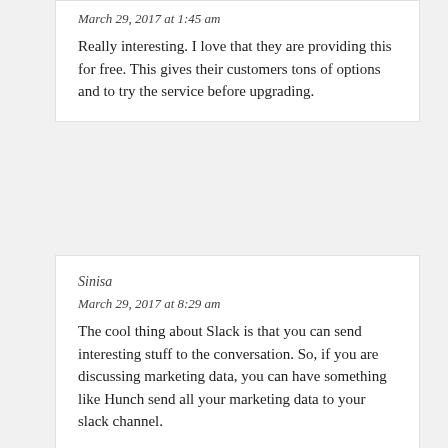March 29, 2017 at 1:45 am
Really interesting. I love that they are providing this for free. This gives their customers tons of options and to try the service before upgrading.
Sinisa
March 29, 2017 at 8:29 am
The cool thing about Slack is that you can send interesting stuff to the conversation. So, if you are discussing marketing data, you can have something like Hunch send all your marketing data to your slack channel.